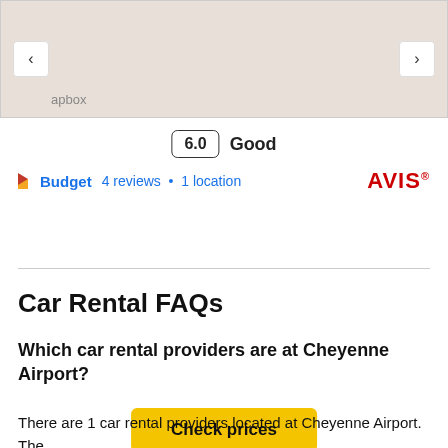[Figure (map): Map background showing a navigation map with left and right arrow buttons and a Mapbox watermark label]
6.0  Good
Budget  4 reviews • 1 location  AVIS
Check prices
Car Rental FAQs
Which car rental providers are at Cheyenne Airport?
There are 1 car rental providers located at Cheyenne Airport. The